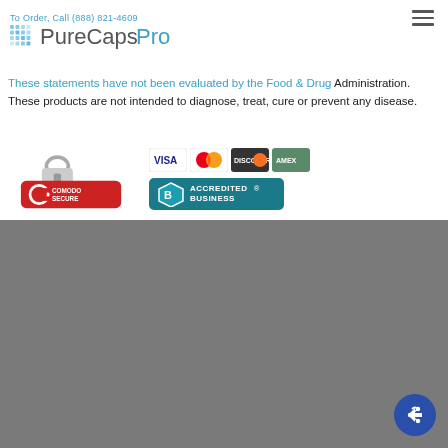To Order, Call (888) 821-4609
[Figure (logo): PureCapsPro logo with blue grid dot pattern and PureCapsPro text]
These statements have not been evaluated by the Food & Drug Administration. These products are not intended to diagnose, treat, cure or prevent any disease.
[Figure (infographic): Comodo Secure badge with padlock icon, payment card icons (Visa, MasterCard, Discover, Amex), and BBB Accredited Business badge]
[Figure (logo): Powered By Pure Rxo - Your Practice Made Perfect logo in white on gray background]
© PureCapsPro 2022 The Pure Encapsulations trademark is used under license. PureCapsPro is an independent virtual dispensary offering Pure Encapsulations products exclusively.